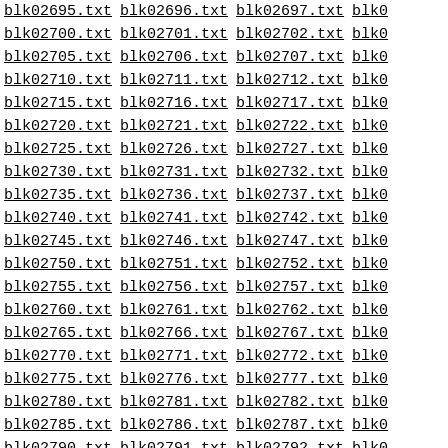blk02695.txt blk02696.txt blk02697.txt blk02698.txt blk02700.txt blk02701.txt blk02702.txt blk02703.txt blk02705.txt blk02706.txt blk02707.txt blk02708.txt blk02710.txt blk02711.txt blk02712.txt blk02713.txt blk02715.txt blk02716.txt blk02717.txt blk02718.txt blk02720.txt blk02721.txt blk02722.txt blk02723.txt blk02725.txt blk02726.txt blk02727.txt blk02728.txt blk02730.txt blk02731.txt blk02732.txt blk02733.txt blk02735.txt blk02736.txt blk02737.txt blk02738.txt blk02740.txt blk02741.txt blk02742.txt blk02743.txt blk02745.txt blk02746.txt blk02747.txt blk02748.txt blk02750.txt blk02751.txt blk02752.txt blk02753.txt blk02755.txt blk02756.txt blk02757.txt blk02758.txt blk02760.txt blk02761.txt blk02762.txt blk02763.txt blk02765.txt blk02766.txt blk02767.txt blk02768.txt blk02770.txt blk02771.txt blk02772.txt blk02773.txt blk02775.txt blk02776.txt blk02777.txt blk02778.txt blk02780.txt blk02781.txt blk02782.txt blk02783.txt blk02785.txt blk02786.txt blk02787.txt blk02788.txt blk02790.txt blk02791.txt blk02792.txt blk02793.txt blk02795.txt blk02796.txt blk02797.txt blk02798.txt blk02800.txt blk02801.txt blk02802.txt blk02803.txt blk02805.txt blk02806.txt blk02807.txt blk02808.txt blk02810.txt blk02811.txt blk02812.txt blk02813.txt blk02815.txt blk02816.txt blk02817.txt blk02818.txt blk02820.txt blk02821.txt blk02822.txt blk02823.txt